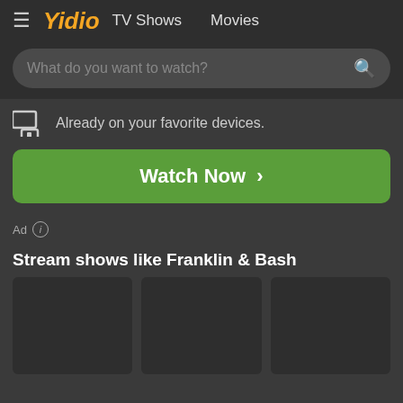≡ Yidio  TV Shows  Movies
What do you want to watch?
Already on your favorite devices.
Watch Now ›
Ad ⓘ
Stream shows like Franklin & Bash